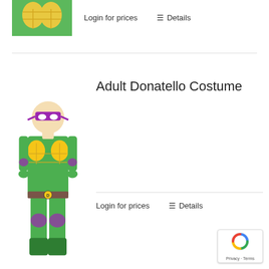[Figure (photo): Top portion of a turtle costume showing yellow chest area with green fabric]
Login for prices
Details
[Figure (photo): Adult Donatello (TMNT) costume worn by a male model; purple mask, green bodysuit with yellow chest padding and purple accents, brown belt with D buckle]
Adult Donatello Costume
Login for prices
Details